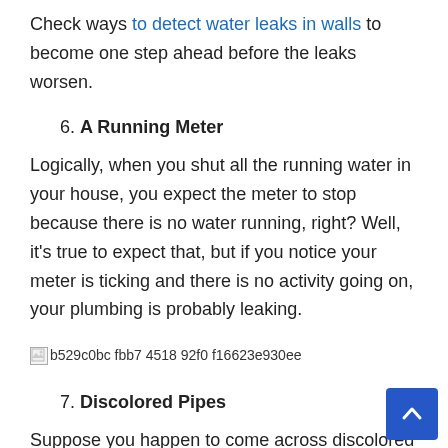Check ways to detect water leaks in walls to become one step ahead before the leaks worsen.
6. A Running Meter
Logically, when you shut all the running water in your house, you expect the meter to stop because there is no water running, right? Well, it's true to expect that, but if you notice your meter is ticking and there is no activity going on, your plumbing is probably leaking.
[Figure (photo): Broken image placeholder with filename: b529c0bc fbb7 4518 92f0 f16623e930ee]
7. Discolored Pipes
Suppose you happen to come across discolored pipes under the sinks or in the